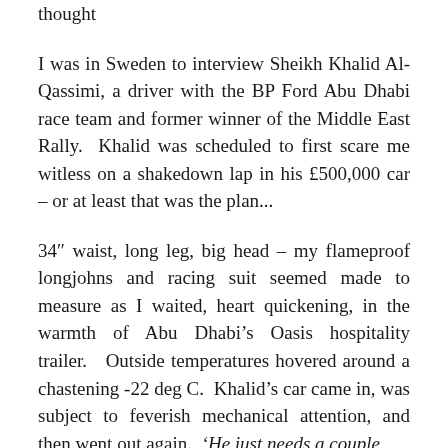thought
I was in Sweden to interview Sheikh Khalid Al-Qassimi, a driver with the BP Ford Abu Dhabi race team and former winner of the Middle East Rally.  Khalid was scheduled to first scare me witless on a shakedown lap in his £500,000 car – or at least that was the plan...
34″ waist, long leg, big head – my flameproof longjohns and racing suit seemed made to measure as I waited, heart quickening, in the warmth of Abu Dhabi's Oasis hospitality trailer.    Outside temperatures hovered around a chastening -22 deg C.  Khalid's car came in, was subject to feverish mechanical attention, and then went out again.  'He just needs a couple